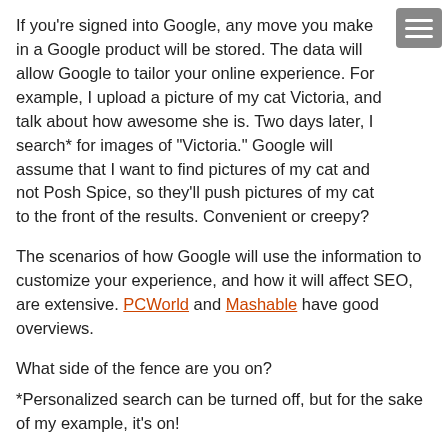If you're signed into Google, any move you make in a Google product will be stored. The data will allow Google to tailor your online experience. For example, I upload a picture of my cat Victoria, and talk about how awesome she is. Two days later, I search* for images of "Victoria." Google will assume that I want to find pictures of my cat and not Posh Spice, so they'll push pictures of my cat to the front of the results. Convenient or creepy?
The scenarios of how Google will use the information to customize your experience, and how it will affect SEO, are extensive. PCWorld and Mashable have good overviews.
What side of the fence are you on?
*Personalized search can be turned off, but for the sake of my example, it's on!